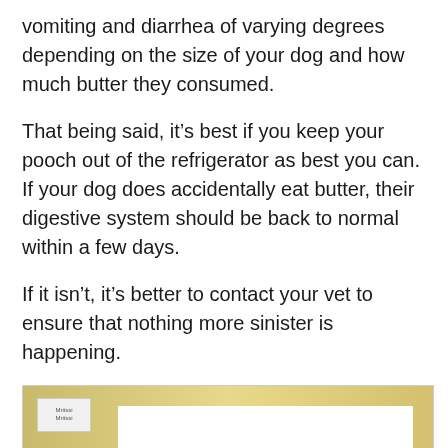vomiting and diarrhea of varying degrees depending on the size of your dog and how much butter they consumed.
That being said, it's best if you keep your pooch out of the refrigerator as best you can. If your dog does accidentally eat butter, their digestive system should be back to normal within a few days.
If it isn't, it's better to contact your vet to ensure that nothing more sinister is happening.
[Figure (screenshot): Partial YouTube video thumbnail showing 'Can A D[YouTube logo]t Butter?' title text on a gold/tan background with a white inner panel and a small channel icon in the top left.]